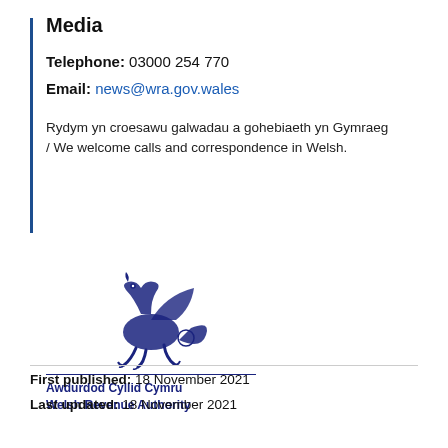Media
Telephone: 03000 254 770
Email: news@wra.gov.wales
Rydym yn croesawu galwadau a gohebiaeth yn Gymraeg / We welcome calls and correspondence in Welsh.
[Figure (logo): Welsh Revenue Authority (Awdurdod Cyllid Cymru) dragon logo with text 'Awdurdod Cyllid Cymru Welsh Revenue Authority']
First published: 18 November 2021
Last updated: 18 November 2021